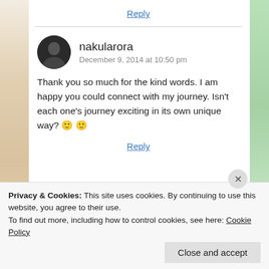Reply
nakularora
December 9, 2014 at 10:50 pm
Thank you so much for the kind words. I am happy you could connect with my journey. Isn't each one's journey exciting in its own unique way? 🙂 🙂
Reply
Privacy & Cookies: This site uses cookies. By continuing to use this website, you agree to their use.
To find out more, including how to control cookies, see here: Cookie Policy
Close and accept